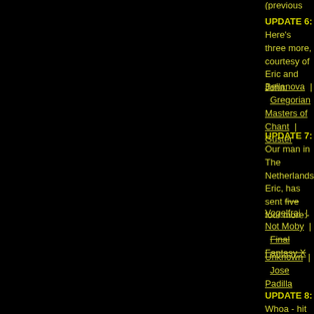(... previous content ...)
UPDATE 6: Here's three more, courtesy of Eric and John:
Bellanova | Gregorian Masters of Chant | Guster
UPDATE 7: Our man in The Netherlands, Eric, has sent five four more:-
Vogelfrai | Not Moby | Final Fantasy X
Unknown | Jose Padilla
UPDATE 8: Whoa - hit the jackpot today! Here are 14